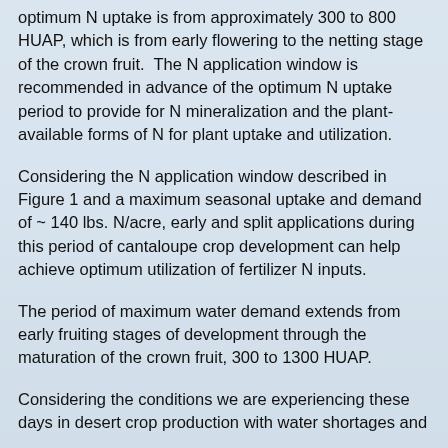optimum N uptake is from approximately 300 to 800 HUAP, which is from early flowering to the netting stage of the crown fruit.  The N application window is recommended in advance of the optimum N uptake period to provide for N mineralization and the plant-available forms of N for plant uptake and utilization.
Considering the N application window described in Figure 1 and a maximum seasonal uptake and demand of ~ 140 lbs. N/acre, early and split applications during this period of cantaloupe crop development can help achieve optimum utilization of fertilizer N inputs.
The period of maximum water demand extends from early fruiting stages of development through the maturation of the crown fruit, 300 to 1300 HUAP.
Considering the conditions we are experiencing these days in desert crop production with water shortages and